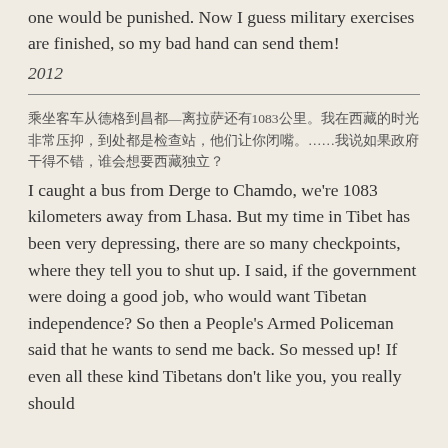one would be punished. Now I guess military exercises are finished, so my bad hand can send them!
2012
乘坐客车从德格到昌都—离拉萨还有1083公里。我在西藏的时光非常压抑，到处都是检查站，他们让你闭嘴。……我说如果政府干得不错，谁会想要西藏独立？
I caught a bus from Derge to Chamdo, we're 1083 kilometers away from Lhasa. But my time in Tibet has been very depressing, there are so many checkpoints, where they tell you to shut up. I said, if the government were doing a good job, who would want Tibetan independence? So then a People's Armed Policeman said that he wants to send me back. So messed up! If even all these kind Tibetans don't like you, you really should